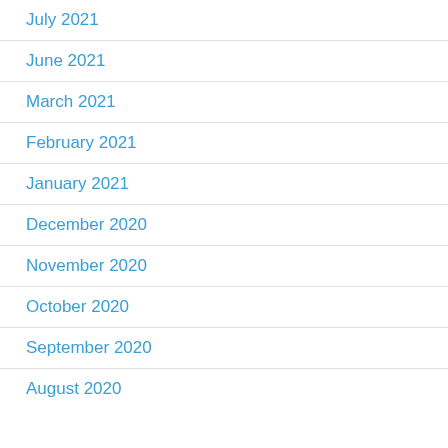July 2021
June 2021
March 2021
February 2021
January 2021
December 2020
November 2020
October 2020
September 2020
August 2020